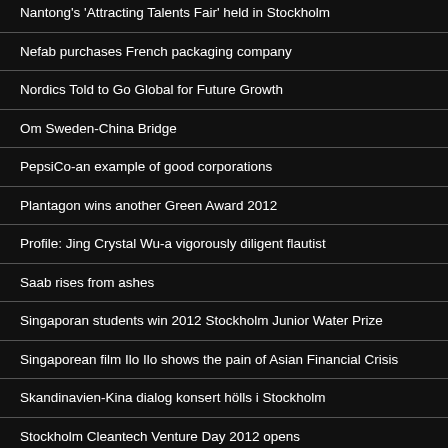Nantong's 'Attracting Talents Fair' held in Stockholm
Nefab purchases French packaging company
Nordics Told to Go Global for Future Growth
Om Sweden-China Bridge
PepsiCo-an example of good corporations
Plantagon wins another Green Award 2012
Profile: Jing Crystal Wu-a vigorously diligent flautist
Saab rises from ashes
Singaporan students win 2012 Stockholm Junior Water Prize
Singaporean film Ilo Ilo shows the pain of Asian Financial Crisis
Skandinavien-Kina dialog konsert hölls i Stockholm
Stockholm Cleantech Venture Day 2012 opens
Stockholm International Film Festival is underway